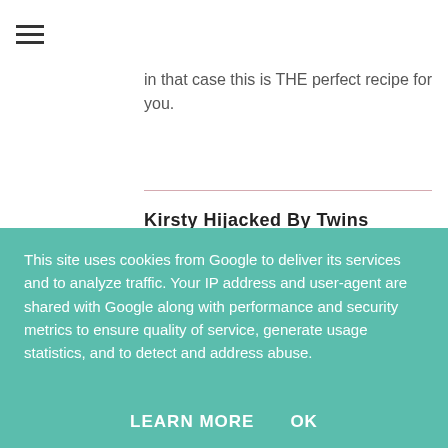23 August 2015 at 16:27
in that case this is THE perfect recipe for you.
Kirsty Hijacked By Twins
23 August 2015 at 15:20
Oh wow my kiddies (and I) would love this shake! It looks so delicious and I will be keeping an eye out for the peanut butter Oreos x #cookblogshare
This site uses cookies from Google to deliver its services and to analyze traffic. Your IP address and user-agent are shared with Google along with performance and security metrics to ensure quality of service, generate usage statistics, and to detect and address abuse.
LEARN MORE   OK